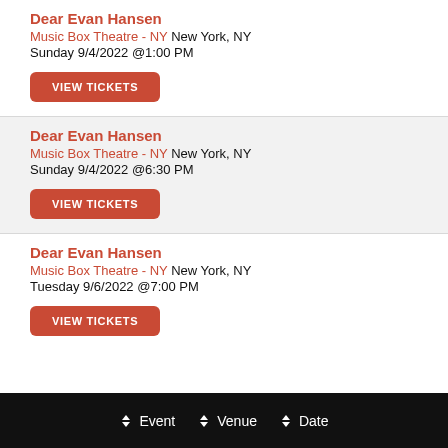Dear Evan Hansen
Music Box Theatre - NY New York, NY
Sunday 9/4/2022 @1:00 PM
VIEW TICKETS
Dear Evan Hansen
Music Box Theatre - NY New York, NY
Sunday 9/4/2022 @6:30 PM
VIEW TICKETS
Dear Evan Hansen
Music Box Theatre - NY New York, NY
Tuesday 9/6/2022 @7:00 PM
VIEW TICKETS
Event   Venue   Date